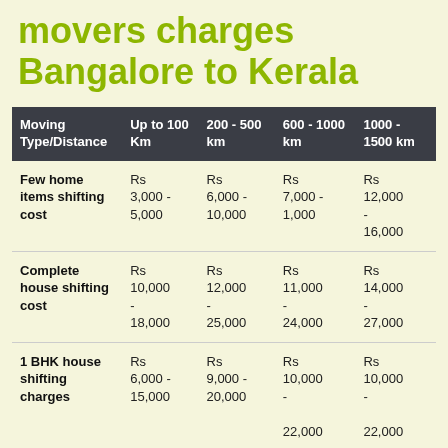movers charges Bangalore to Kerala
| Moving Type/Distance | Up to 100 Km | 200 - 500 km | 600 - 1000 km | 1000 - 1500 km |
| --- | --- | --- | --- | --- |
| Few home items shifting cost | Rs 3,000 - 5,000 | Rs 6,000 - 10,000 | Rs 7,000 - 1,000 | Rs 12,000 - 16,000 |
| Complete house shifting cost | Rs 10,000 - 18,000 | Rs 12,000 - 25,000 | Rs 11,000 - 24,000 | Rs 14,000 - 27,000 |
| 1 BHK house shifting charges | Rs 6,000 - 15,000 | Rs 9,000 - 20,000 | Rs 10,000 - 22,000 | Rs 10,000 - 22,000 |